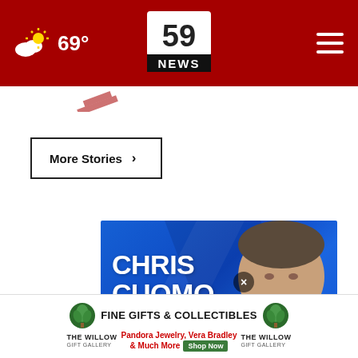59 NEWS — 69° weather header bar
More Stories ›
[Figure (photo): Chris Cuomo Coming This Fall to NewsNation advertisement — man in suit smiling against blue background with large white text]
[Figure (photo): The Willow Gift Gallery banner ad — Fine Gifts & Collectibles, Pandora Jewelry, Vera Bradley & Much More, Shop Now]